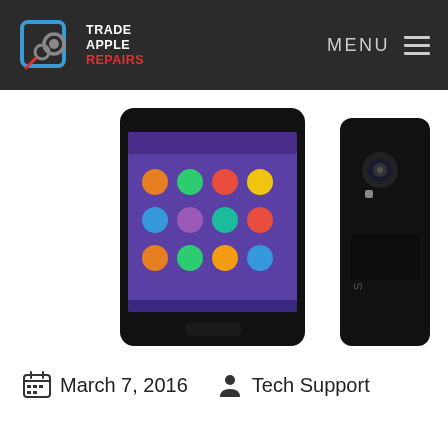TRADE APPLE REPAIRS — MENU
[Figure (photo): Two Sony Xperia smartphones shown side by side — one showing the front screen with Android home screen icons on a purple wallpaper, and one showing the back of the black device with Sony branding and camera.]
March 7, 2016   Tech Support